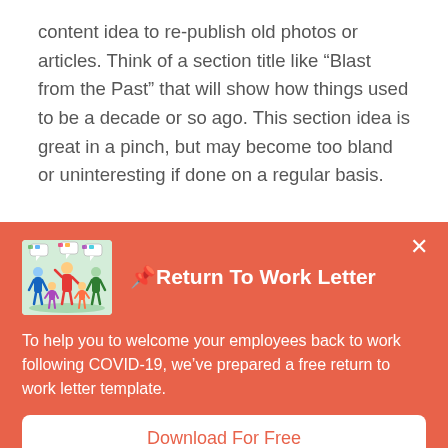content idea to re-publish old photos or articles. Think of a section title like “Blast from the Past” that will show how things used to be a decade or so ago. This section idea is great in a pinch, but may become too bland or uninteresting if done on a regular basis.
[Figure (illustration): Illustration of a group of people celebrating or welcoming, with speech bubbles, on a green background]
📎Return To Work Letter
To help you to welcome your employees back to work following COVID-19, we’ve prepared a free return to work letter template.
Download For Free